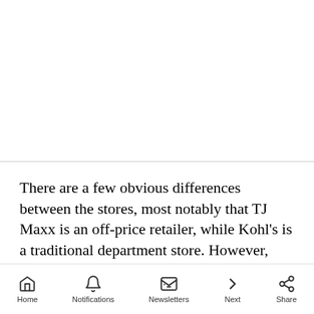[Figure (other): White blank area (image placeholder at top of page)]
There are a few obvious differences between the stores, most notably that TJ Maxx is an off-price retailer, while Kohl's is a traditional department store. However, after visiting both, we found that the stores were similar in many ways — the styles
Home  Notifications  Newsletters  Next  Share